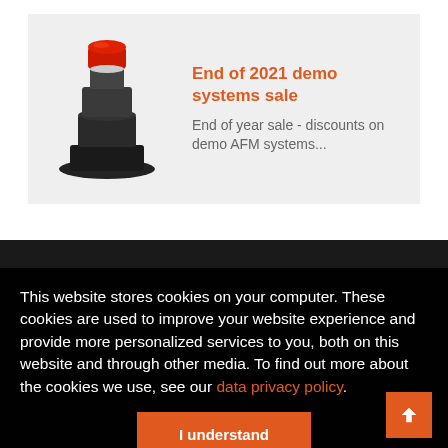[Figure (photo): Photo of an AFM (Atomic Force Microscope) instrument with a red top portion and black base, displayed against a light grey background.]
End of 2021 demo systems sale
End of year sale - discounts on demo AFM systems...
About Nanosqrf
Distributions
Events
Contact Us
Sitemap
Shop
How AFM Works
Nanosurfat Events
Resources
Your Account
AFM & STM Products
AFM Applications
NanosurfNews
Sign up for our Newsletter
This website stores cookies on your computer. These cookies are used to improve your website experience and provide more personalized services to you, both on this website and through other media. To find out more about the cookies we use, see our data privacy policy.
I understand